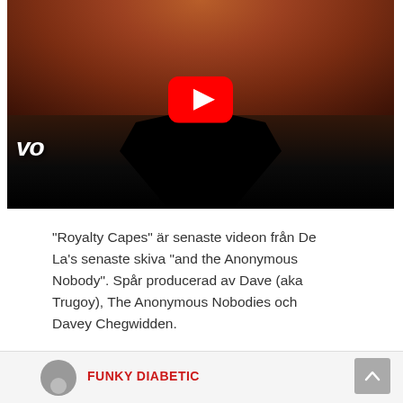[Figure (screenshot): YouTube video thumbnail showing a concert crowd scene with a dark silhouette performer on stage, YouTube play button overlay in red, and 'VO' (VEVO) logo in bottom left corner]
“Royalty Capes” är senaste videon från De La’s senaste skiva “and the Anonymous Nobody”. Spår producerad av Dave (aka Trugoy), The Anonymous Nobodies och Davey Chegwidden.
FUNKY DIABETIC